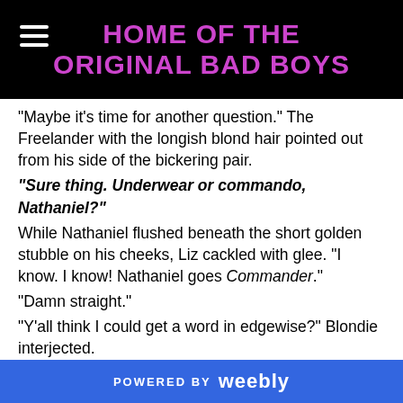HOME OF THE ORIGINAL BAD BOYS
"Maybe it's time for another question." The Freelander with the longish blond hair pointed out from his side of the bickering pair.
"Sure thing. Underwear or commando, Nathaniel?"
While Nathaniel flushed beneath the short golden stubble on his cheeks, Liz cackled with glee. "I know. I know! Nathaniel goes Commander."
"Damn straight."
"Y'all think I could get a word in edgewise?" Blondie interjected.
"Nope," came his companion's twin responses.
"Kill me now, please." Nathaniel's mock frown was completely unconvincing. "And if I can't go Commander, I prefer to go commando."
Cannon's licked his lips, staring at his husband.
POWERED BY weebly